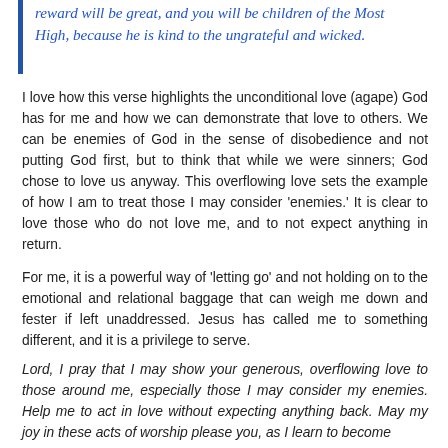reward will be great, and you will be children of the Most High, because he is kind to the ungrateful and wicked.
I love how this verse highlights the unconditional love (agape) God has for me and how we can demonstrate that love to others. We can be enemies of God in the sense of disobedience and not putting God first, but to think that while we were sinners; God chose to love us anyway. This overflowing love sets the example of how I am to treat those I may consider 'enemies.' It is clear to love those who do not love me, and to not expect anything in return.
For me, it is a powerful way of 'letting go' and not holding on to the emotional and relational baggage that can weigh me down and fester if left unaddressed. Jesus has called me to something different, and it is a privilege to serve.
Lord, I pray that I may show your generous, overflowing love to those around me, especially those I may consider my enemies. Help me to act in love without expecting anything back. May my joy in these acts of worship please you, as I learn to become